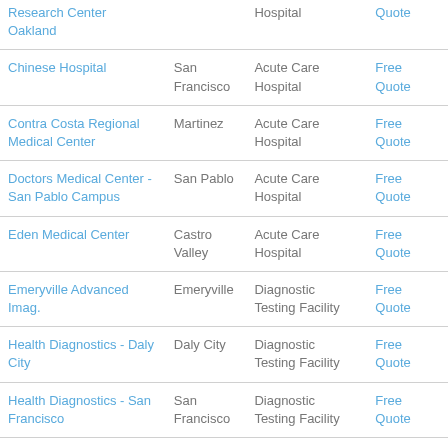| Name | City | Type | Action |
| --- | --- | --- | --- |
| Research Center Oakland |  | Hospital | Quote |
| Chinese Hospital | San Francisco | Acute Care Hospital | Free Quote |
| Contra Costa Regional Medical Center | Martinez | Acute Care Hospital | Free Quote |
| Doctors Medical Center - San Pablo Campus | San Pablo | Acute Care Hospital | Free Quote |
| Eden Medical Center | Castro Valley | Acute Care Hospital | Free Quote |
| Emeryville Advanced Imag. | Emeryville | Diagnostic Testing Facility | Free Quote |
| Health Diagnostics - Daly City | Daly City | Diagnostic Testing Facility | Free Quote |
| Health Diagnostics - San Francisco | San Francisco | Diagnostic Testing Facility | Free Quote |